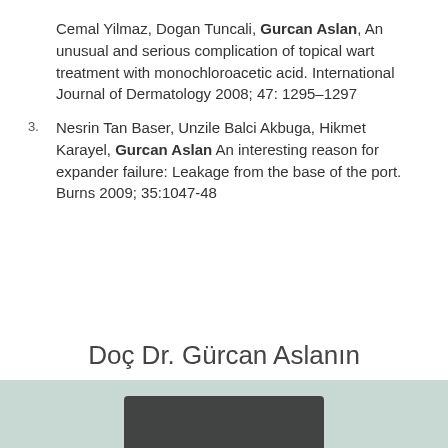Cemal Yilmaz, Dogan Tuncali, Gurcan Aslan, An unusual and serious complication of topical wart treatment with monochloroacetic acid. International Journal of Dermatology 2008; 47: 1295–1297
Nesrin Tan Baser, Unzile Balci Akbuga, Hikmet Karayel, Gurcan Aslan An interesting reason for expander failure: Leakage from the base of the port. Burns 2009; 35:1047-48
Doç Dr. Gürcan Aslanın Yurtiçi ve Yurtdışı dergilerde yayınlanan bilimsel makaleleri
[Figure (photo): Partial view of a dark device or equipment against a light teal/mint background at the bottom of the page]